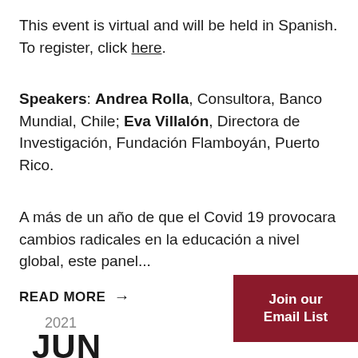This event is virtual and will be held in Spanish. To register, click here.
Speakers: Andrea Rolla, Consultora, Banco Mundial, Chile; Eva Villalón, Directora de Investigación, Fundación Flamboyán, Puerto Rico.
A más de un año de que el Covid 19 provocara cambios radicales en la educación a nivel global, este panel...
READ MORE →
Join our Email List
2021
JUN